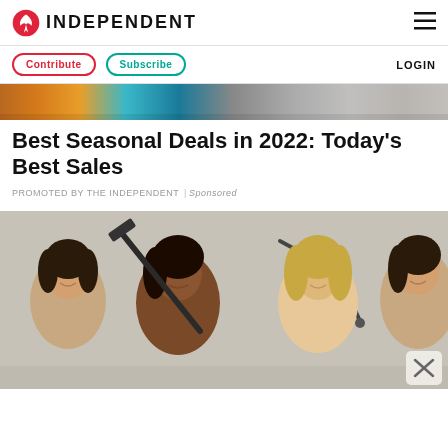INDEPENDENT
Contribute | Subscribe | LOGIN
[Figure (photo): Colorful horizontal strip image banner at top of article]
Best Seasonal Deals in 2022: Today's Best Sales
PROMOTED BY THE INDEPENDENT | Sponsored
[Figure (photo): Group of four smiling women in studio photo with cleaning tools on beige background; a close/dismiss X button overlay in bottom right corner]